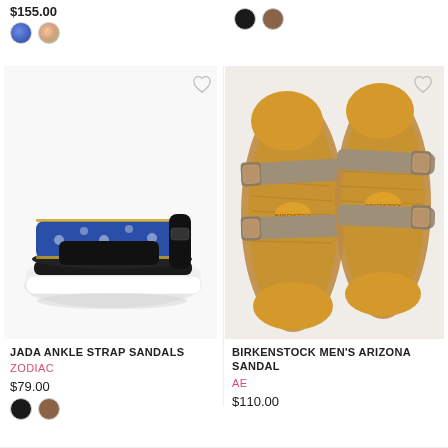$155.00
[Figure (photo): Color swatches: blue and peach/multicolor circles for a product above]
[Figure (photo): Color swatches: black and brown circles for a product above (right column)]
[Figure (photo): Jada Ankle Strap Sandal by Zodiac — black platform sandal with blue embroidered strap, side view on white background]
[Figure (photo): Birkenstock Men's Arizona Sandal — taupe two-strap sandals with cork footbed, top-down view on white background]
JADA ANKLE STRAP SANDALS
ZODIAC
$79.00
[Figure (photo): Color swatches: black and brown circles for Jada Ankle Strap Sandals]
BIRKENSTOCK MEN'S ARIZONA SANDAL
AE
$110.00